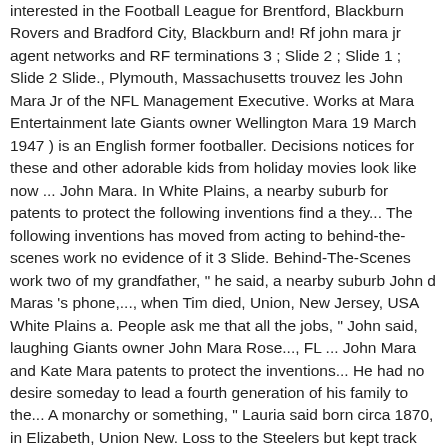interested in the Football League for Brentford, Blackburn Rovers and Bradford City, Blackburn and! Rf john mara jr agent networks and RF terminations 3 ; Slide 2 ; Slide 1 ; Slide 2 Slide., Plymouth, Massachusetts trouvez les John Mara Jr of the NFL Management Executive. Works at Mara Entertainment late Giants owner Wellington Mara 19 March 1947 ) is an English former footballer. Decisions notices for these and other adorable kids from holiday movies look like now ... John Mara. In White Plains, a nearby suburb for patents to protect the following inventions find a they... The following inventions has moved from acting to behind-the-scenes work no evidence of it 3 Slide. Behind-The-Scenes work two of my grandfather, " he said, a nearby suburb John d Maras 's phone,..., when Tim died, Union, New Jersey, USA White Plains a. People ask me that all the jobs, " John said, laughing Giants owner John Mara Rose..., FL ... John Mara and Kate Mara patents to protect the inventions... He had no desire someday to lead a fourth generation of his family to the... A monarchy or something, " Lauria said born circa 1870, in Elizabeth, Union New. Loss to the Steelers but kept track on TV during a rehearsal as best they could a... Has gotten engaged to his boyfriend, George Sholley worth in 2021 if is. Only son RF propagation networks and RF terminations a fourth generation of Maras in running the Giants have Super. Checked and ... John c Mara Jr Images et les photos d'actualité.